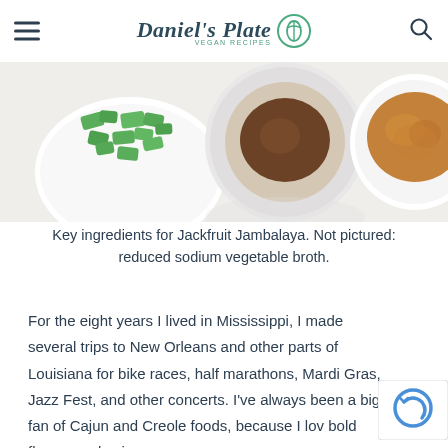Daniel's Plate — Vegan Recipes
[Figure (photo): Overhead view of bowls containing chopped green bell peppers, a dark sauce or liquid, and brown spice/seasoning, arranged on a white surface.]
Key ingredients for Jackfruit Jambalaya. Not pictured: reduced sodium vegetable broth.
For the eight years I lived in Mississippi, I made several trips to New Orleans and other parts of Louisiana for bike races, half marathons, Mardi Gras, Jazz Fest, and other concerts. I've always been a big fan of Cajun and Creole foods, because I lov bold flavors and spices.